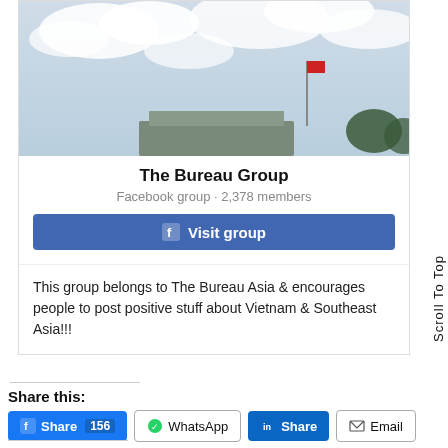[Figure (photo): Sky with clouds and a building with a flagpole, cropped view of an outdoor scene.]
The Bureau Group
Facebook group · 2,378 members
Visit group
This group belongs to The Bureau Asia & encourages people to post positive stuff about Vietnam & Southeast Asia!!!
Share this:
Share 156
WhatsApp
Share
Email
Like this:
Loading...
Scroll To Top